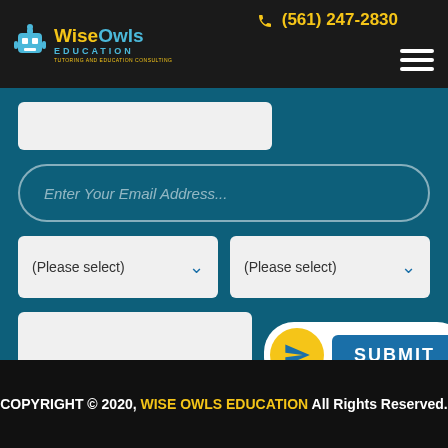Wise Owls Education | (561) 247-2830
[Figure (screenshot): Web form with email input, two dropdowns labeled (Please select), a textarea, and a Submit button with yellow circular icon]
COPYRIGHT © 2020, WISE OWLS EDUCATION All Rights Reserved.